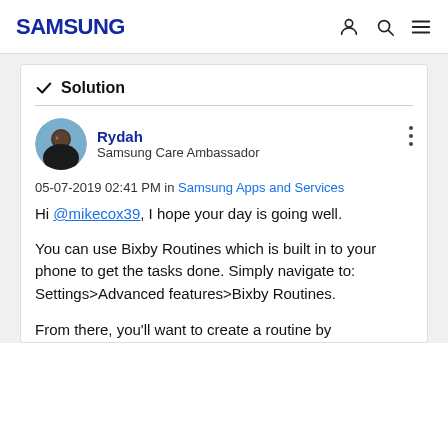SAMSUNG
✓ Solution
[Figure (photo): Profile avatar of user Rydah, a person wearing black clothing]
Rydah
Samsung Care Ambassador
05-07-2019 02:41 PM in Samsung Apps and Services
Hi @mikecox39, I hope your day is going well.
You can use Bixby Routines which is built in to your phone to get the tasks done. Simply navigate to: Settings>Advanced features>Bixby Routines.
From there, you'll want to create a routine by